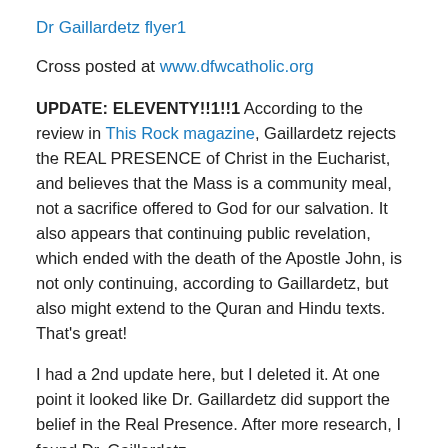Dr Gaillardetz flyer1
Cross posted at www.dfwcatholic.org
UPDATE: ELEVENTY!!1!!1  According to the review in This Rock magazine, Gaillardetz rejects the REAL PRESENCE of Christ in the Eucharist, and believes that the Mass is a community meal, not a sacrifice offered to God for our salvation.  It also appears that continuing public revelation, which ended with the death of the Apostle John, is not only continuing, according to Gaillardetz, but also might extend to the Quran and Hindu texts.  That's great!
I had a 2nd update here, but I deleted it.  At one point it looked like Dr. Gaillardetz did support the belief in the Real Presence. After more research, I found Dr. Gaillardetz